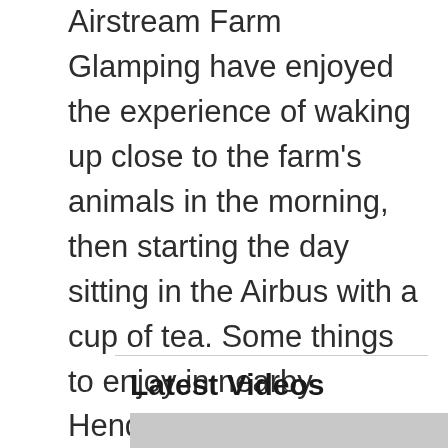Airstream Farm Glamping have enjoyed the experience of waking up close to the farm's animals in the morning, then starting the day sitting in the Airbus with a cup of tea. Some things to enjoy in nearby Henderson while you are in the area include Chickasaw State Park, Prison Mounds State Archeological Park, Goodman Ranch, and Shiloh National Military Park.
Latest Videos
[Figure (other): Video thumbnail placeholder (gray rectangle)]